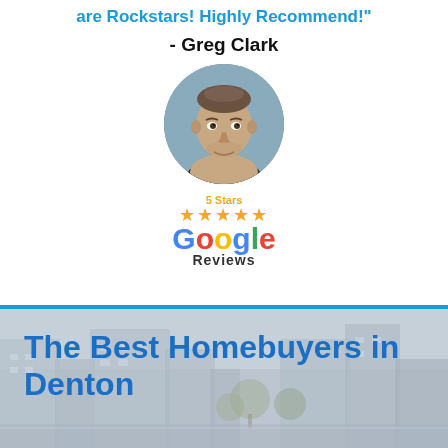are Rockstars! Highly Recommend!"
- Greg Clark
[Figure (photo): Circular headshot of Greg Clark, a middle-aged man with short hair, looking directly at camera]
[Figure (logo): Google Reviews logo with 5 Stars rating and five gold stars above the Google wordmark and 'Reviews' text]
The Best Homebuyers in Denton